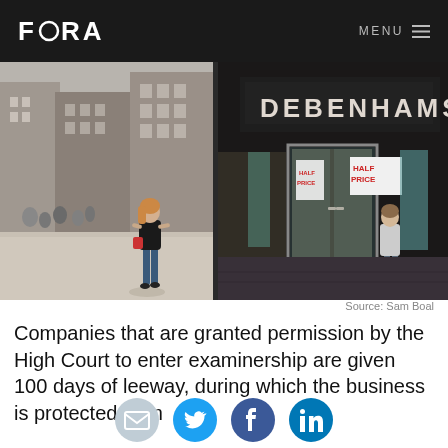FORA | MENU
[Figure (photo): Street scene outside Debenhams department store. Left half shows pedestrians on a city street with brick buildings. Right half shows the Debenhams entrance with glass doors and a HALF PRICE sale sign.]
Source: Sam Boal
Companies that are granted permission by the High Court to enter examinership are given 100 days of leeway, during which the business is protected from